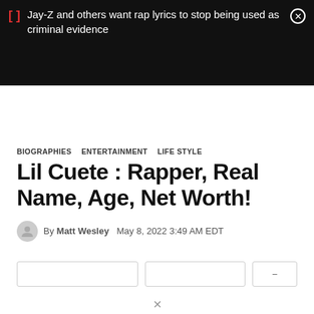[Figure (screenshot): Black notification banner with red bracket icon, white text reading 'Jay-Z and others want rap lyrics to stop being used as criminal evidence', and a close button (circled X) on the right]
BIOGRAPHIES  ENTERTAINMENT  LIFE STYLE
Lil Cuete : Rapper, Real Name, Age, Net Worth!
By Matt Wesley   May 8, 2022 3:49 AM EDT